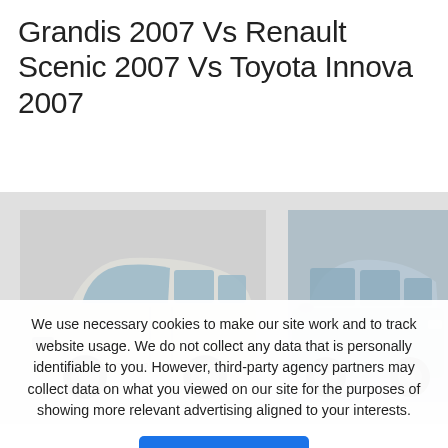Grandis 2007 Vs Renault Scenic 2007 Vs Toyota Innova 2007
[Figure (photo): Two cars side by side: a silver station wagon (Kia Carens/Grandis style) on the left and a blue/silver minivan (Toyota Innova style) on the right, shown on a light gray background strip.]
We use necessary cookies to make our site work and to track website usage. We do not collect any data that is personally identifiable to you. However, third-party agency partners may collect data on what you viewed on our site for the purposes of showing more relevant advertising aligned to your interests.
OK